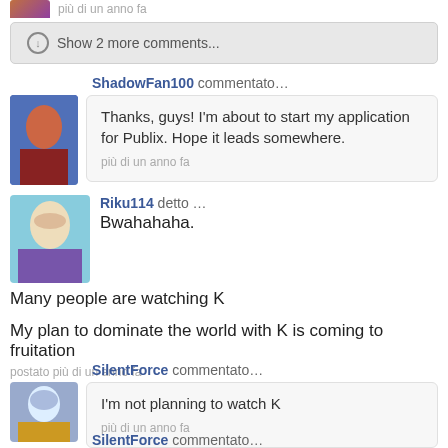più di un anno fa
⬇ Show 2 more comments...
ShadowFan100 commentato…
Thanks, guys! I'm about to start my application for Publix. Hope it leads somewhere.
più di un anno fa
Riku114 detto …
Bwahahaha.
Many people are watching K
My plan to dominate the world with K is coming to fruitation
postato più di un anno fa
SilentForce commentato…
I'm not planning to watch K
più di un anno fa
SilentForce commentato…